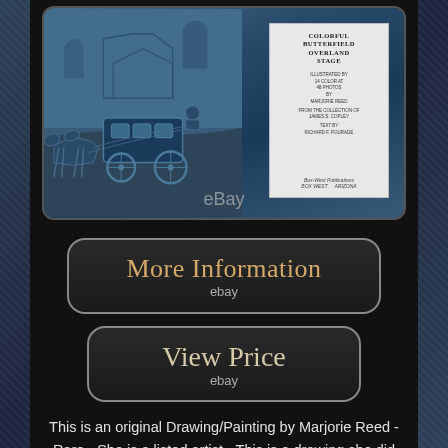[Figure (photo): Photograph of a book titled 'Colorful Butterfield Overland Stage' showing the book cover with a stagecoach illustration on blue toned background. An eBay watermark is visible at the bottom of the photo.]
More Information
ebay
View Price
ebay
This is an original Drawing/Painting by Marjorie Reed - Rare - She is a listed artist - This is a drawing she did specific for a friend drawn in her book - The Colorful Butterfield Overland State with 20 paintings collection by James Copley Special edition 919 - Signed twice. The item